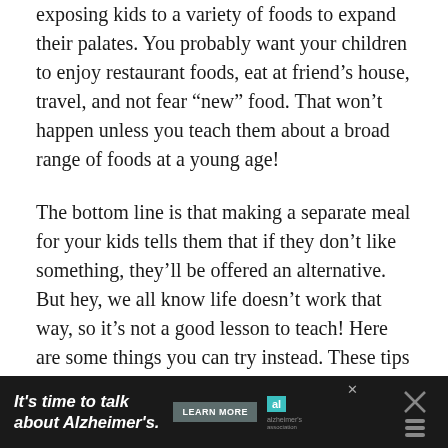exposing kids to a variety of foods to expand their palates. You probably want your children to enjoy restaurant foods, eat at friend's house, travel, and not fear “new” food. That won’t happen unless you teach them about a broad range of foods at a young age!
The bottom line is that making a separate meal for your kids tells them that if they don’t like something, they’ll be offered an alternative. But hey, we all know life doesn’t work that way, so it’s not a good lesson to teach! Here are some things you can try instead. These tips will help keep the peace and make everyone happy – including you!
[Figure (infographic): Advertisement banner: dark background with text 'It’s time to talk about Alzheimer’s.' in white italic font, a 'LEARN MORE' button, Alzheimer's Association logo, and a close button.]